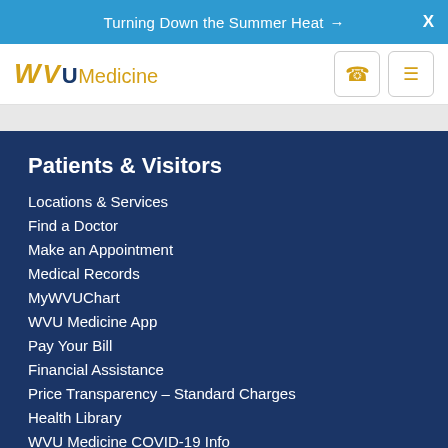Turning Down the Summer Heat → X
[Figure (logo): WVU Medicine logo with stylized WV in gold, WVU in dark navy, Medicine in gold text, with phone and hamburger menu icons]
Patients & Visitors
Locations & Services
Find a Doctor
Make an Appointment
Medical Records
MyWVUChart
WVU Medicine App
Pay Your Bill
Financial Assistance
Price Transparency – Standard Charges
Health Library
WVU Medicine COVID-19 Info
Medical Professionals
Refer a Patient